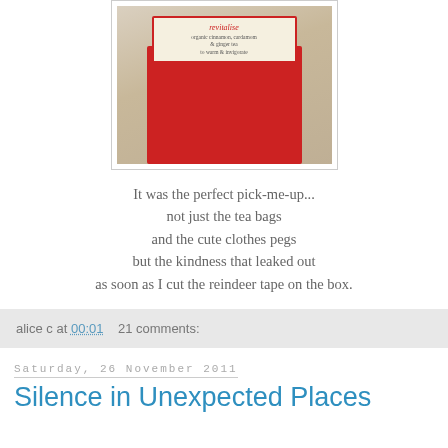[Figure (photo): Close-up photo of a red and cream tea bag package labeled 'revitalise - organic cinnamon, cardamom & ginger tea to warm & invigorate']
It was the perfect pick-me-up...
not just the tea bags
and the cute clothes pegs
but the kindness that leaked out
as soon as I cut the reindeer tape on the box.
alice c at 00:01    21 comments:
Saturday, 26 November 2011
Silence in Unexpected Places